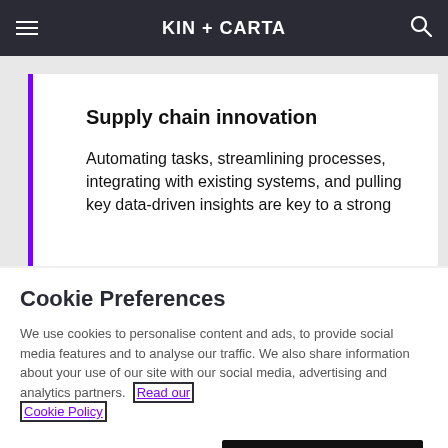KIN + CARTA
Supply chain innovation
Automating tasks, streamlining processes, integrating with existing systems, and pulling key data-driven insights are key to a strong
Cookie Preferences
We use cookies to personalise content and ads, to provide social media features and to analyse our traffic. We also share information about your use of our site with our social media, advertising and analytics partners. Read our Cookie Policy
Manage Preferences    Accept All Cookies